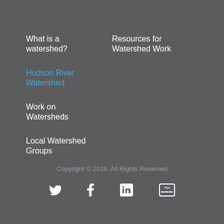What is a watershed?
Resources for Watershed Work
Hudson River Watershed
Work on Watersheds
Local Watershed Groups
Copyright © 2018. All Rights Reserved